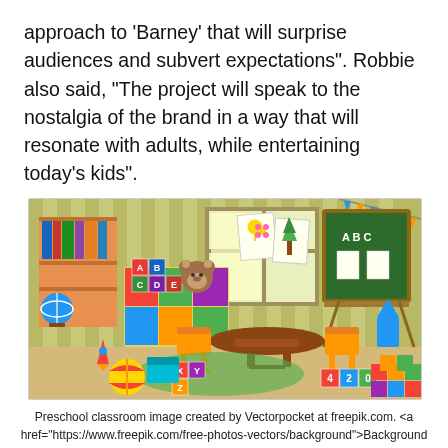approach to 'Barney' that will surprise audiences and subvert expectations". Robbie also said, "The project will speak to the nostalgia of the brand in a way that will resonate with adults, while entertaining today's kids".
[Figure (illustration): Cartoon illustration of a preschool classroom with colorful shelves, alphabet blocks, a teddy bear, children's drawings on the wall, a window, small chairs and table, a green chalkboard with ABC, toy blocks, and bunting flags.]
Preschool classroom image created by Vectorpocket at freepik.com. <a href="https://www.freepik.com/free-photos-vectors/background">Background vector created by